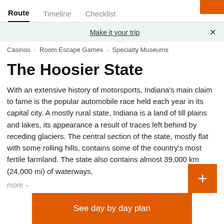Route · Timeline · Checklist
Make it your trip
Casinos · Room Escape Games · Specialty Museums
The Hoosier State
With an extensive history of motorsports, Indiana's main claim to fame is the popular automobile race held each year in its capital city. A mostly rural state, Indiana is a land of till plains and lakes, its appearance a result of traces left behind by receding glaciers. The central section of the state, mostly flat with some rolling hills, contains some of the country's most fertile farmland. The state also contains almost 39,000 km (24,000 mi) of waterways,
more
See day by day plan